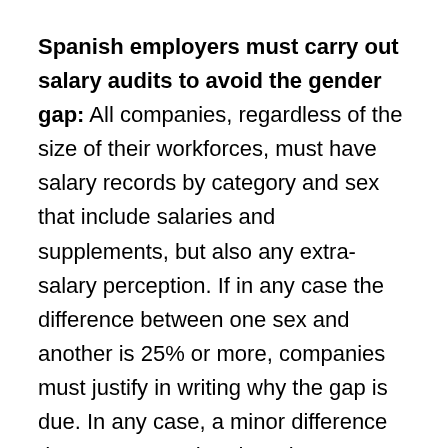Spanish employers must carry out salary audits to avoid the gender gap: All companies, regardless of the size of their workforces, must have salary records by category and sex that include salaries and supplements, but also any extra-salary perception. If in any case the difference between one sex and another is 25% or more, companies must justify in writing why the gap is due. In any case, a minor difference does not mean that there is no discrimination, it only avoids the obligation of a formal justification. The workers' representatives must have access to all the information, which must include salary averages but also medians. The medians